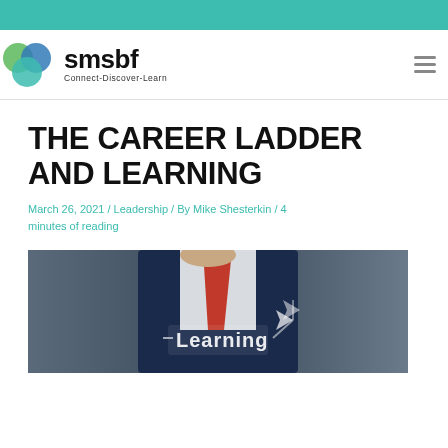smsbf Connect-Discover-Learn
THE CAREER LADDER AND LEARNING
March 26, 2021 / Leadership / By Mike Shesterkin / 4 minutes of reading
[Figure (photo): Person in a suit touching a glowing 'Learning' text display]